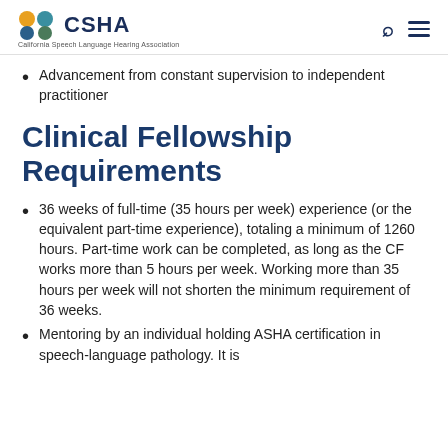CSHA — California Speech Language Hearing Association
Advancement from constant supervision to independent practitioner
Clinical Fellowship Requirements
36 weeks of full-time (35 hours per week) experience (or the equivalent part-time experience), totaling a minimum of 1260 hours. Part-time work can be completed, as long as the CF works more than 5 hours per week. Working more than 35 hours per week will not shorten the minimum requirement of 36 weeks.
Mentoring by an individual holding ASHA certification in speech-language pathology. It is